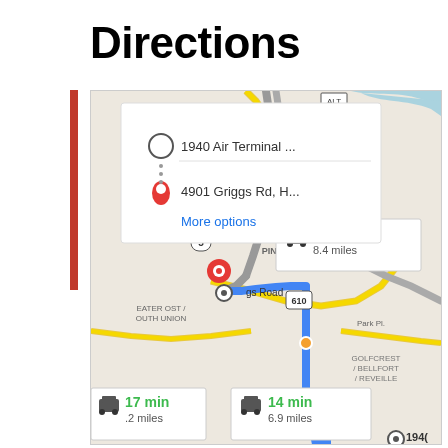Directions
[Figure (screenshot): Google Maps screenshot showing directions in Houston, TX from 1940 Air Terminal to 4901 Griggs Rd, H... with a popup showing route options. Map displays two routes: one taking 16 min / 8.4 miles and another 14 min / 6.9 miles, plus a third route partially visible showing 17 min. The route is highlighted in blue through southeast Houston. Neighborhoods shown include Gulfgate/Pine Valley, Pecan Park, Golfcrest/Bellfort/Reveille, Greater Ost/South Union.]